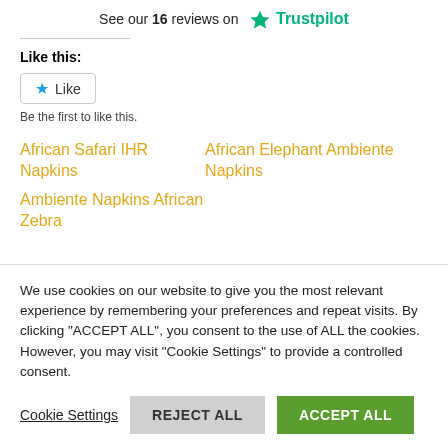See our 16 reviews on Trustpilot
Like this:
Like
Be the first to like this.
African Safari IHR Napkins
African Elephant Ambiente Napkins
Ambiente Napkins African Zebra
We use cookies on our website to give you the most relevant experience by remembering your preferences and repeat visits. By clicking "ACCEPT ALL", you consent to the use of ALL the cookies. However, you may visit "Cookie Settings" to provide a controlled consent.
Cookie Settings | REJECT ALL | ACCEPT ALL